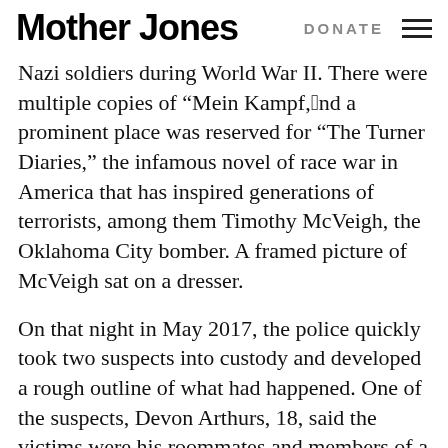Mother Jones | DONATE
Nazi soldiers during World War II. There were multiple copies of “Mein Kampf,”and a prominent place was reserved for “The Turner Diaries,” the infamous novel of race war in America that has inspired generations of terrorists, among them Timothy McVeigh, the Oklahoma City bomber. A framed picture of McVeigh sat on a dresser.
On that night in May 2017, the police quickly took two suspects into custody and developed a rough outline of what had happened. One of the suspects, Devon Arthurs, 18, said the victims were his roommates and members of a neo-Nazi group called the Atomwaffen Division. Arthurs said that he’d decided to leave the group and that he’d killed the